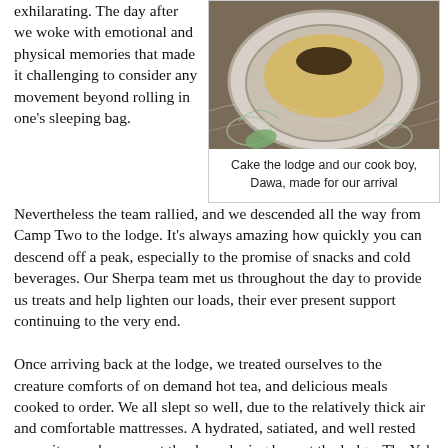exhilarating. The day after we woke with emotional and physical memories that made it challenging to consider any movement beyond rolling in one's sleeping bag. Nevertheless the team rallied, and we descended all the way from Camp Two to the lodge. It's always amazing how quickly you can descend off a peak, especially to the promise of snacks and cold beverages. Our Sherpa team met us throughout the day to provide us treats and help lighten our loads, their ever present support continuing to the very end.
[Figure (photo): A close-up photo of a decorated cake on a patterned surface, with floral decorations visible.]
Cake the lodge and our cook boy, Dawa, made for our arrival
Once arriving back at the lodge, we treated ourselves to the creature comforts of on demand hot tea, and delicious meals cooked to order. We all slept so well, due to the relatively thick air and comfortable mattresses. A hydrated, satiated, and well rested summit crew have spent the day relaxing here at the lodge. The Yak has been sent down the day before...